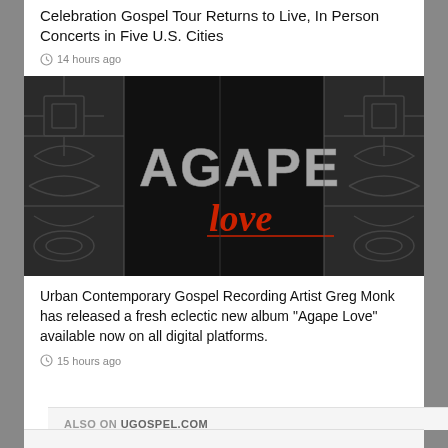Celebration Gospel Tour Returns to Live, In Person Concerts in Five U.S. Cities
14 hours ago
[Figure (photo): Album cover for 'Agape Love' by Greg Monk. Dark patterned background with tribal/geometric designs. Large stylized text reads 'AGAPE' in silver/white grunge font, and 'love' in red cursive script below.]
Urban Contemporary Gospel Recording Artist Greg Monk has released a fresh eclectic new album “Agape Love” available now on all digital platforms.
15 hours ago
ALSO ON UGOSPEL.COM